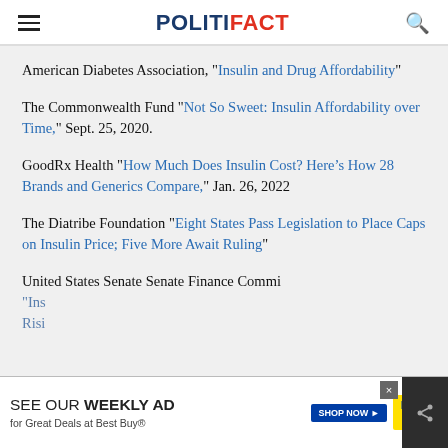POLITIFACT
American Diabetes Association, "Insulin and Drug Affordability"
The Commonwealth Fund "Not So Sweet: Insulin Affordability over Time," Sept. 25, 2020.
GoodRx Health "How Much Does Insulin Cost? Here’s How 28 Brands and Generics Compare," Jan. 26, 2022
The Diatribe Foundation "Eight States Pass Legislation to Place Caps on Insulin Price; Five More Await Ruling"
United States Senate Senate Finance Commi... "Ins... Risi..."
[Figure (screenshot): Best Buy advertisement overlay: SEE OUR WEEKLY AD for Great Deals at Best Buy® with SHOP NOW button and Best Buy logo]